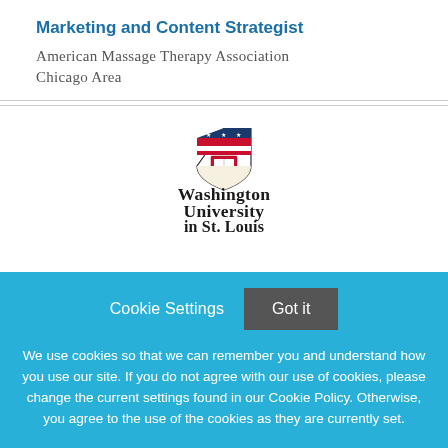Marketing and Content Strategist
American Massage Therapy Association
Chicago Area
[Figure (logo): Washington University in St. Louis shield logo with text]
Cookie Settings   Got it
We use cookies so that we can remember you and understand how you use our site. If you do not agree with our use of cookies, please change the current settings found in our Cookie Policy. Otherwise, you agree to the use of the cookies as they are currently set.